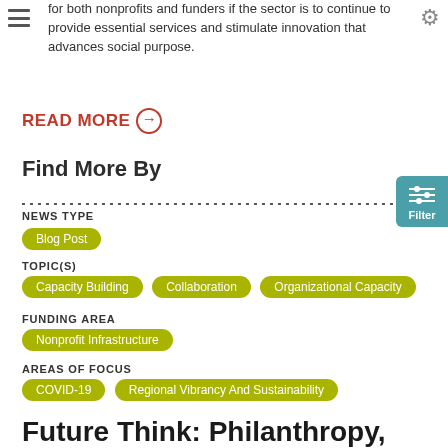for both nonprofits and funders if the sector is to continue to provide essential services and stimulate innovation that advances social purpose.
READ MORE →
Find More By
NEWS TYPE
Blog Post
TOPIC(S)
Capacity Building
Collaboration
Organizational Capacity
FUNDING AREA
Nonprofit Infrastructure
AREAS OF FOCUS
COVID-19
Regional Vibrancy And Sustainability
Future Think: Philanthropy,